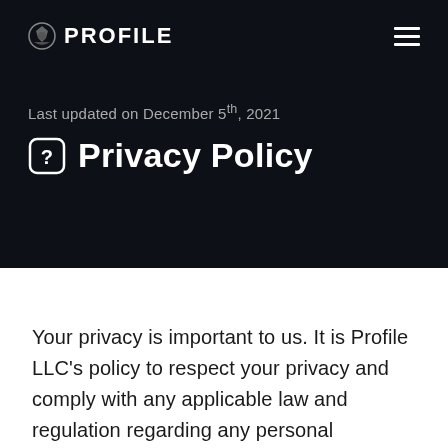PROFILE
Last updated on December 5th, 2021
Privacy Policy
Your privacy is important to us. It is Profile LLC's policy to respect your privacy and comply with any applicable law and regulation regarding any personal